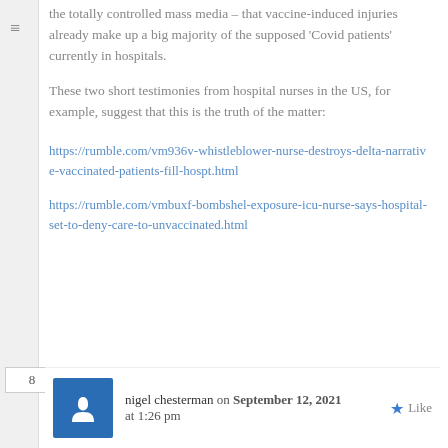the totally controlled mass media – that vaccine-induced injuries already make up a big majority of the supposed 'Covid patients' currently in hospitals.
These two short testimonies from hospital nurses in the US, for example, suggest that this is the truth of the matter:
https://rumble.com/vm936v-whistleblower-nurse-destroys-delta-narrative-vaccinated-patients-fill-hospt.html
https://rumble.com/vmbuxf-bombshel-exposure-icu-nurse-says-hospital-set-to-deny-care-to-unvaccinated.html
nigel chesterman on September 12, 2021 at 1:26 pm
8